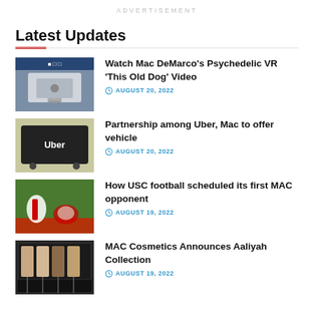ADVERTISEMENT
Latest Updates
Watch Mac DeMarco's Psychedelic VR 'This Old Dog' Video | AUGUST 20, 2022
Partnership among Uber, Mac to offer vehicle | AUGUST 20, 2022
How USC football scheduled its first MAC opponent | AUGUST 19, 2022
MAC Cosmetics Announces Aaliyah Collection | AUGUST 19, 2022